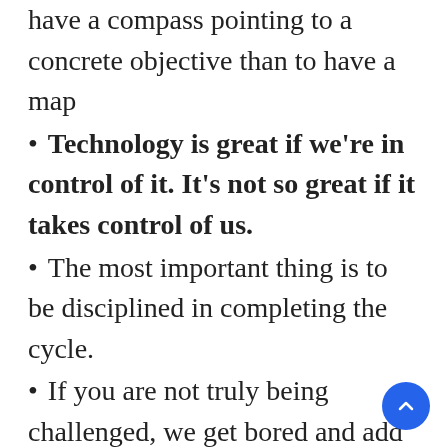have a compass pointing to a concrete objective than to have a map
Technology is great if we're in control of it. It's not so great if it takes control of us.
The most important thing is to be disciplined in completing the cycle.
If you are not truly being challenged, we get bored and add a layer of complexity to amuse yourself
The most important thing is